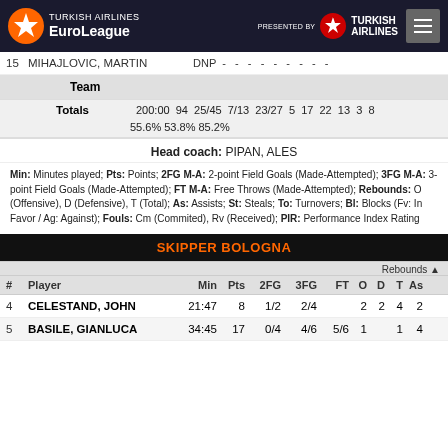Turkish Airlines EuroLeague - presented by Turkish Airlines
| # | Player | Min | Pts | 2FG | 3FG | FT | O | D | T | As |
| --- | --- | --- | --- | --- | --- | --- | --- | --- | --- | --- |
| 15 | MIHAJLOVIC, MARTIN | DNP | - | - | - | - | - | - | - | - | - |
|  | Team |  |  |  |  |  |  |  |  |  |
|  | Totals | 200:00 | 94 | 25/45 | 7/13 | 23/27 | 5 | 17 | 22 | 13 3 8 |
|  |  | 55.6% | 53.8% | 85.2% |  |  |  |  |  |  |
Head coach: PIPAN, ALES
Min: Minutes played; Pts: Points; 2FG M-A: 2-point Field Goals (Made-Attempted); 3FG M-A: 3-point Field Goals (Made-Attempted); FT M-A: Free Throws (Made-Attempted); Rebounds: O (Offensive), D (Defensive), T (Total); As: Assists; St: Steals; To: Turnovers; Bl: Blocks (Fv: In Favor / Ag: Against); Fouls: Cm (Commited), Rv (Received); PIR: Performance Index Rating
| # | Player | Min | Pts | 2FG | 3FG | FT | O | D | T | As |
| --- | --- | --- | --- | --- | --- | --- | --- | --- | --- | --- |
| 4 | CELESTAND, JOHN | 21:47 | 8 | 1/2 | 2/4 |  | 2 | 2 | 4 | 2 |
| 5 | BASILE, GIANLUCA | 34:45 | 17 | 0/4 | 4/6 | 5/6 | 1 |  | 1 | 4 |